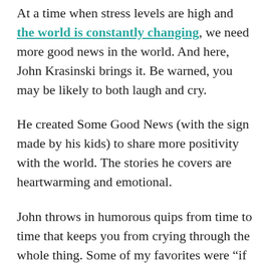At a time when stress levels are high and the world is constantly changing, we need more good news in the world. And here, John Krasinski brings it. Be warned, you may be likely to both laugh and cry.
He created Some Good News (with the sign made by his kids) to share more positivity with the world. The stories he covers are heartwarming and emotional.
John throws in humorous quips from time to time that keeps you from crying through the whole thing. Some of my favorites were “if it isn’t clear yet, I have absolutely no idea what I’m doing” and “I am alone in this room”.
At about six minutes in, he chats with Steve Carell